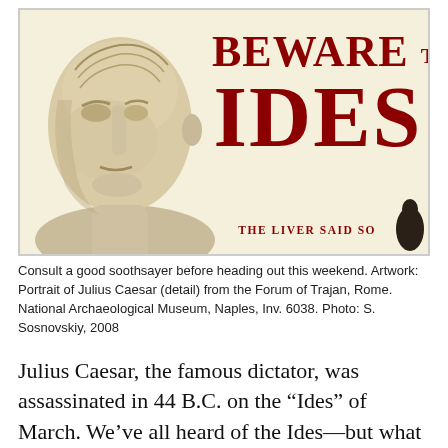[Figure (illustration): Banner image with cream background showing a marble bust of Julius Caesar on the left and bold red text reading 'BEWARE THE IDES' on the right, with 'THE LIVER SAID SO' at the bottom right and a dark object (liver model) in the bottom-right corner.]
Consult a good soothsayer before heading out this weekend. Artwork: Portrait of Julius Caesar (detail) from the Forum of Trajan, Rome. National Archaeological Museum, Naples, Inv. 6038. Photo: S. Sosnovskiy, 2008
Julius Caesar, the famous dictator, was assassinated in 44 B.C. on the “Ides” of March. We’ve all heard of the Ides—but what exactly were they, and what made them